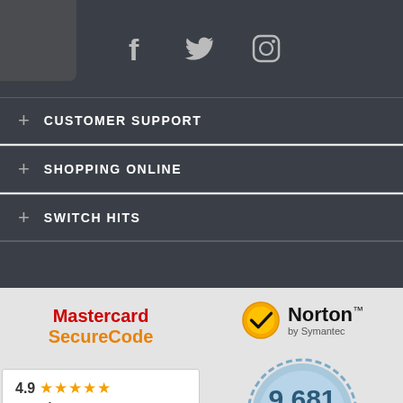[Figure (illustration): Social media icons: Facebook (f), Twitter bird, Instagram camera - white icons on dark background]
+ CUSTOMER SUPPORT
+ SHOPPING ONLINE
+ SWITCH HITS
[Figure (logo): Mastercard SecureCode logo - red and orange text]
[Figure (logo): Norton by Symantec logo with gold/yellow shield checkmark]
[Figure (infographic): Blue badge seal showing 9,681 CERTIFIED REVIEWS with 4 gold stars, Powered by YOTPO]
4.9 ★★★★★ Google Customer Reviews
Powered by YOTPO